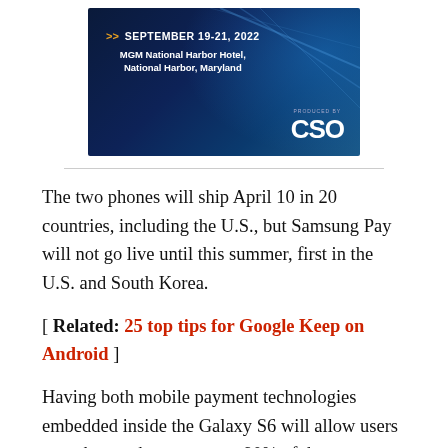[Figure (other): Dark navy blue banner for a conference event. Shows double chevrons in orange followed by 'SEPTEMBER 19-21, 2022' in bold white, then 'MGM National Harbor Hotel, National Harbor, Maryland' in white below. Bottom right shows 'PRODUCED BY' in small text above large 'CSO' logo in white. Background has blue gradient light effect.]
The two phones will ship April 10 in 20 countries, including the U.S., but Samsung Pay will not go live until this summer, first in the U.S. and South Korea.
[ Related: 25 top tips for Google Keep on Android ]
Having both mobile payment technologies embedded inside the Galaxy S6 will allow users to make purchases at up to 90% of the